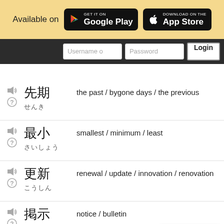[Figure (screenshot): App store badges for Google Play and App Store with 'Available on' text]
the past / bygone days / the previous
smallest / minimum / least
renewal / update / innovation / renovation
notice / bulletin
lower house of the Diet
ward / district / section